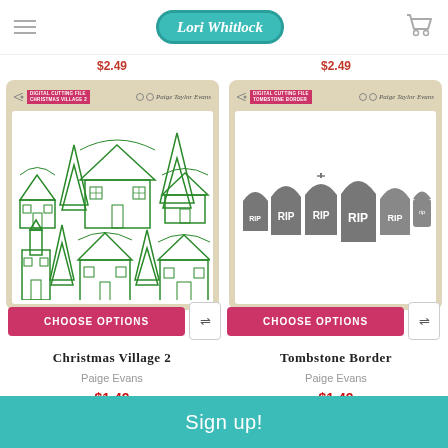Lori Whitlock
$2.49 $2.49
[Figure (photo): Product packaging for 'Christmas Village 2' digital cutting file by Paige Taylor Evans, showing green outline illustrations of Christmas village houses and trees on white background with tan/kraft paper-style packaging]
[Figure (photo): Product packaging for 'Tombstone Border' digital cutting file by Paige Taylor Evans, showing gray tombstone border die cut shapes with 'RIP' text on white background with tan/kraft paper-style packaging]
CHOOSE OPTIONS
CHOOSE OPTIONS
Christmas Village 2
Tombstone Border
Paige Evans
Paige Evans
$1.49
$1.49
Sign up!